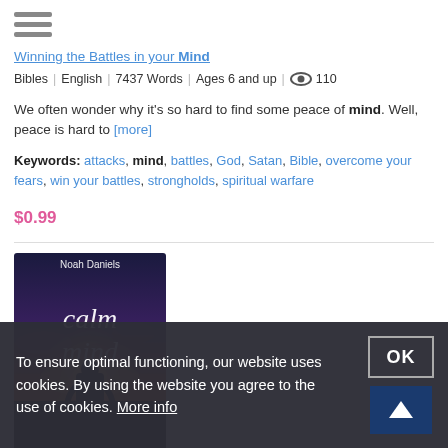[Figure (other): Hamburger menu icon with three horizontal bars]
Winning the Battles in your Mind
Bibles | English | 7437 Words | Ages 6 and up | 👁 110
We often wonder why it's so hard to find some peace of mind. Well, peace is hard to [more]
Keywords: attacks, mind, battles, God, Satan, Bible, overcome your fears, win your battles, strongholds, spiritual warfare
$0.99
[Figure (photo): Book cover for 'Calm Mind' by Noah Daniels showing a silhouette of a person sitting against a dramatic sunset sky with cursive title text]
Noah Daniels
Calm Mind
Discover how to calm your mind, improve your health and
To ensure optimal functioning, our website uses cookies. By using the website you agree to the use of cookies. More info